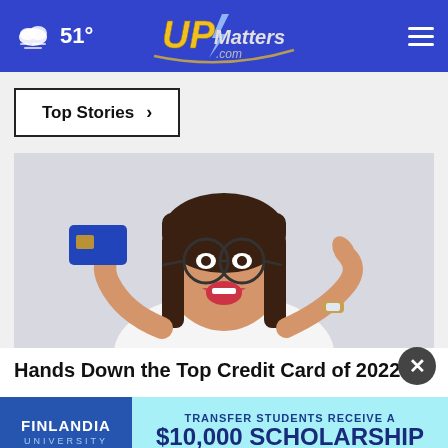51° UPMatters.com
Top Stories ›
[Figure (photo): Woman with glasses smiling and holding up a blue credit card, pointing at it with her other hand, wearing a white shirt, light gray background]
Hands Down the Top Credit Card of 2022
[Figure (infographic): Finlandia University advertisement banner: TRANSFER STUDENTS RECEIVE A $10,000 SCHOLARSHIP]